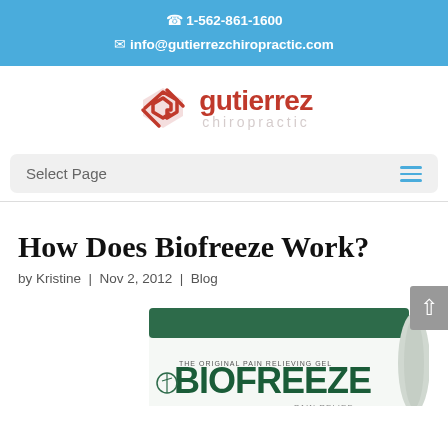1-562-861-1600  info@gutierrezchiropractic.com
[Figure (logo): Gutierrez Chiropractic logo with stylized G icon in red and the text 'gutierrez chiropractic']
Select Page
How Does Biofreeze Work?
by Kristine | Nov 2, 2012 | Blog
[Figure (photo): Biofreeze gel product tube with green and white packaging, partially visible at the bottom of the page]